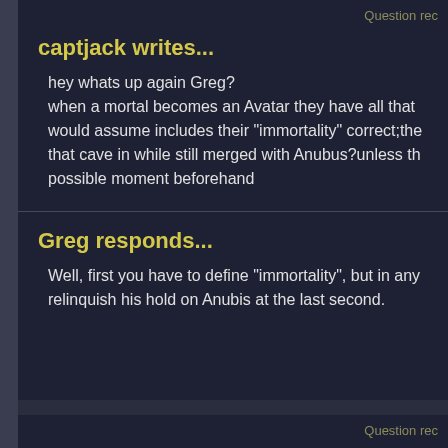Question rec
captjack writes...
hey whats up again Greg? when a mortal becomes an Avatar they have all that would assume includes their "immortality" correct;the that cave in while still merged with Anubus?unless th possible moment beforehand
Greg responds...
Well, first you have to define "immortality", but in any relinquish his hold on Anubis at the last second.
Question rec
Lucedo writes...
Since Disney has provided a deal to stream their sho Gargoyles animated series could be on Hulu?